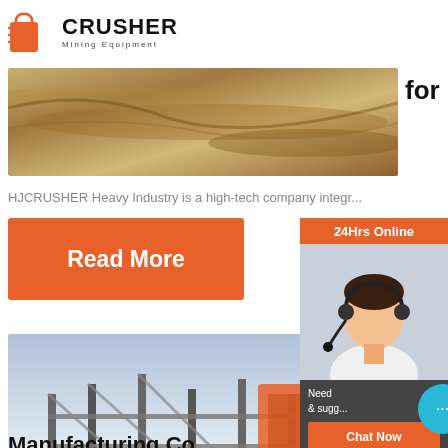[Figure (logo): CRUSHER Mining Equipment logo with shopping bag icon]
[Figure (photo): Limestone quarry or rock surface aerial/ground photo]
for Limestone
HJCRUSHER Heavy Industry is a high-tech company integr...
Read More
[Figure (photo): Mining equipment / crusher plant construction site photo]
Jiang Hengd Mining Machi
Manufacturing Co.,
[Figure (infographic): 24Hrs Online customer service sidebar with chat agent photo, Need & suggestions text, Chat Now button, Enquiry section, email limingjlmofen@sina.com]